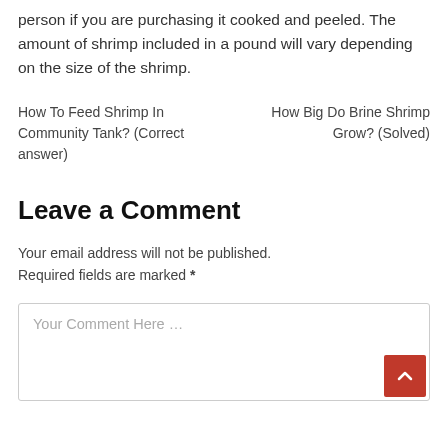person if you are purchasing it cooked and peeled. The amount of shrimp included in a pound will vary depending on the size of the shrimp.
How To Feed Shrimp In Community Tank? (Correct answer)
How Big Do Brine Shrimp Grow? (Solved)
Leave a Comment
Your email address will not be published. Required fields are marked *
Your Comment Here ...